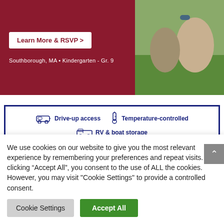[Figure (screenshot): Top banner with dark red background showing 'Learn More & RSVP >' button and 'Southborough, MA • Kindergarten - Gr. 9' text on the left, and a photo of children on grass on the right]
[Figure (infographic): Storage advertisement box with blue border showing icons and text: Drive-up access, Temperature-controlled, RV & boat storage. Yellow banner with 'NO INFLATION HERE! WE ARE KEEPING OUR PRICES LOW FOR YOU!!']
We use cookies on our website to give you the most relevant experience by remembering your preferences and repeat visits. By clicking "Accept All", you consent to the use of ALL the cookies. However, you may visit "Cookie Settings" to provide a controlled consent.
Cookie Settings
Accept All